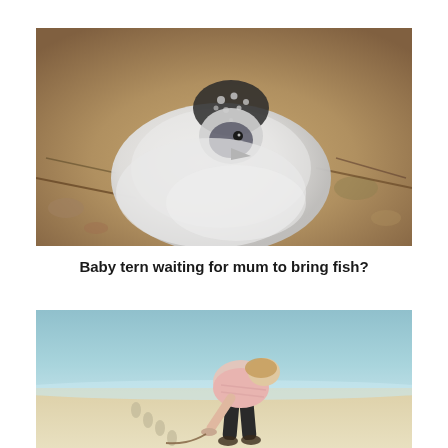[Figure (photo): Close-up photograph of a baby tern chick with fluffy white down feathers and a dark speckled cap on its head, resting on sandy/rocky ground with twigs and pebbles around it. The chick has a dark beak and is viewed from a low angle.]
Baby tern waiting for mum to bring fish?
[Figure (photo): Photograph of a person wearing a pink shirt and dark shorts, bending over on a sandy beach near the water's edge, appearing to pick something up or examine something on the sand. The water in the background is a light turquoise-blue color.]